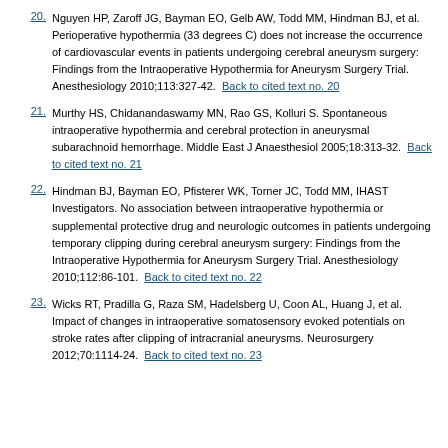20. Nguyen HP, Zaroff JG, Bayman EO, Gelb AW, Todd MM, Hindman BJ, et al. Perioperative hypothermia (33 degrees C) does not increase the occurrence of cardiovascular events in patients undergoing cerebral aneurysm surgery: Findings from the Intraoperative Hypothermia for Aneurysm Surgery Trial. Anesthesiology 2010;113:327-42. Back to cited text no. 20
21. Murthy HS, Chidanandaswamy MN, Rao GS, Kolluri S. Spontaneous intraoperative hypothermia and cerebral protection in aneurysmal subarachnoid hemorrhage. Middle East J Anaesthesiol 2005;18:313-32. Back to cited text no. 21
22. Hindman BJ, Bayman EO, Pfisterer WK, Torner JC, Todd MM, IHAST Investigators. No association between intraoperative hypothermia or supplemental protective drug and neurologic outcomes in patients undergoing temporary clipping during cerebral aneurysm surgery: Findings from the Intraoperative Hypothermia for Aneurysm Surgery Trial. Anesthesiology 2010;112:86-101. Back to cited text no. 22
23. Wicks RT, Pradilla G, Raza SM, Hadelsberg U, Coon AL, Huang J, et al. Impact of changes in intraoperative somatosensory evoked potentials on stroke rates after clipping of intracranial aneurysms. Neurosurgery 2012;70:1114-24. Back to cited text no. 23